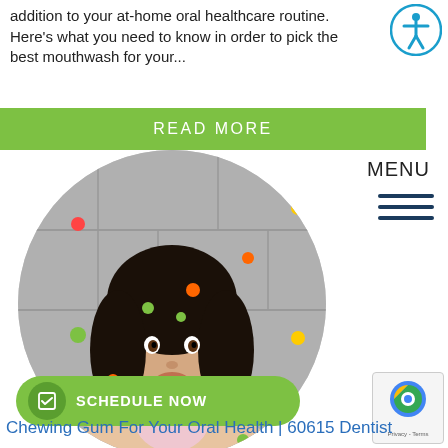addition to your at-home oral healthcare routine. Here's what you need to know in order to pick the best mouthwash for your...
[Figure (other): Accessibility icon - circular icon with person symbol]
READ MORE
MENU
[Figure (photo): Young woman blowing a bubble gum bubble, surrounded by colorful candy pieces, circular cropped photo]
SCHEDULE NOW
[Figure (other): reCAPTCHA widget with Privacy - Terms text]
Chewing Gum For Your Oral Health | 60615 Dentist